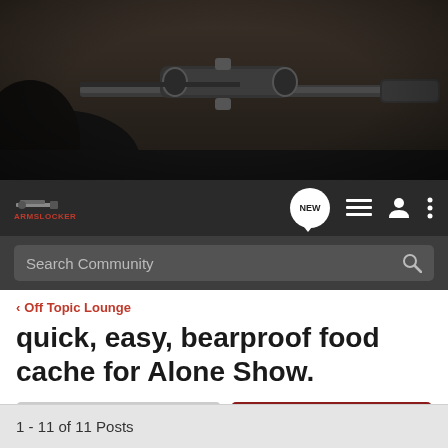[Figure (photo): Close-up photo of a person aiming a rifle with a scope and suppressor, dark background with military/hunting equipment]
[Figure (screenshot): Navigation bar with ArmsLocker logo, NEW chat bubble icon, list icon, user icon, and three-dot menu icon]
[Figure (screenshot): Search bar with text 'Search Community' and magnifying glass icon]
< Off Topic Lounge
quick, easy, bearproof food cache for Alone Show.
→ Jump to Latest
+ Follow
1 - 11 of 11 Posts